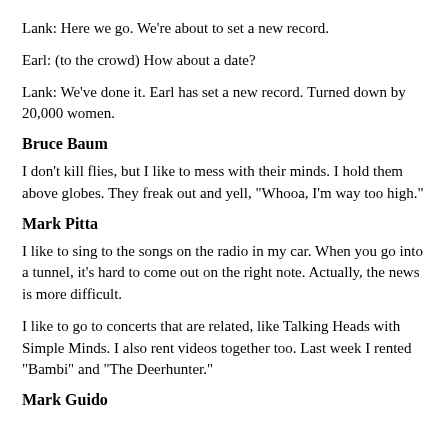Lank: Here we go. We're about to set a new record.
Earl: (to the crowd) How about a date?
Lank: We've done it. Earl has set a new record. Turned down by 20,000 women.
Bruce Baum
I don't kill flies, but I like to mess with their minds. I hold them above globes. They freak out and yell, "Whooa, I'm way too high."
Mark Pitta
I like to sing to the songs on the radio in my car. When you go into a tunnel, it's hard to come out on the right note. Actually, the news is more difficult.
I like to go to concerts that are related, like Talking Heads with Simple Minds. I also rent videos together too. Last week I rented "Bambi" and "The Deerhunter."
Mark Guido